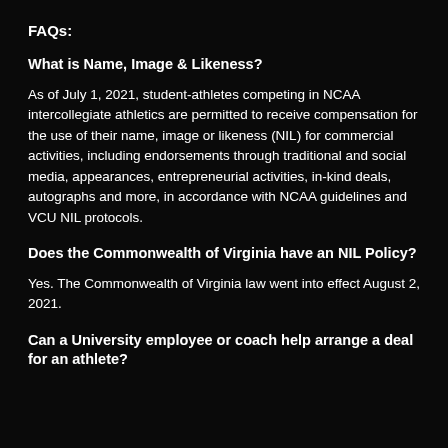FAQs:
What is Name, Image & Likeness?
As of July 1, 2021, student-athletes competing in NCAA intercollegiate athletics are permitted to receive compensation for the use of their name, image or likeness (NIL) for commercial activities, including endorsements through traditional and social media, appearances, entrepreneurial activities, in-kind deals, autographs and more, in accordance with NCAA guidelines and VCU NIL protocols.
Does the Commonwealth of Virginia have an NIL Policy?
Yes. The Commonwealth of Virginia law went into effect August 2, 2021.
Can a University employee or coach help arrange a deal for an athlete?